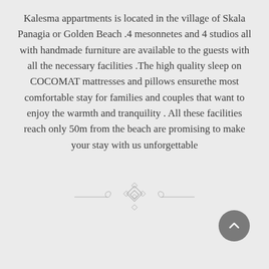Kalesma appartments is located in the village of Skala Panagia or Golden Beach .4 mesonnetes and 4 studios all with handmade furniture are available to the guests with all the necessary facilities .The high quality sleep on COCOMAT mattresses and pillows ensurethe most comfortable stay for families and couples that want to enjoy the warmth and tranquility . All these facilities reach only 50m from the beach are promising to make your stay with us unforgettable
[Figure (illustration): Decorative ornament divider with geometric diamond/rhombus pattern in center and scrollwork on either side, in grey]
[Figure (other): Circular grey button with upward-pointing chevron/arrow icon]